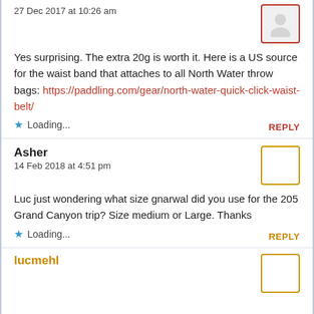27 Dec 2017 at 10:26 am
Yes surprising. The extra 20g is worth it. Here is a US source for the waist band that attaches to all North Water throw bags: https://paddling.com/gear/north-water-quick-click-waist-belt/
Loading...
REPLY
Asher
14 Feb 2018 at 4:51 pm
Luc just wondering what size gnarwal did you use for the 205 Grand Canyon trip? Size medium or Large. Thanks
Loading...
REPLY
lucmehl